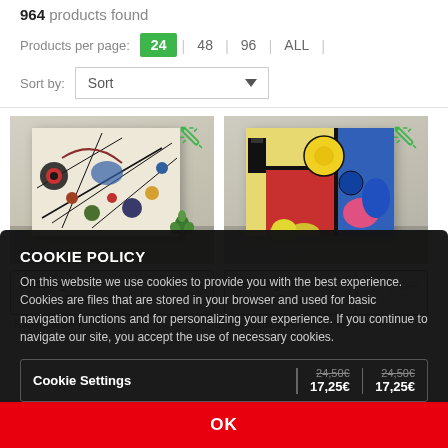964 products found
Products per page: 24 | 48 | 96 | ALL
Sort by: Sort
[Figure (photo): Two product cards showing Kandinsky canvas prints in room mock-up settings. Left card: abstract painting with circles and lines. Right card: colorful abstract with yellow, red, blue shapes. Each card shows type 'Rectangular Canvas Print', price '17,25€'.]
Rectangular Canvas Print
KANDINSKY
17,25€
Rectangular Canvas Print
KANDINSKY - JAUNE
17,25€
COOKIE POLICY
On this website we use cookies to provide you with the best experience. Cookies are files that are stored in your browser and used for basic navigation functions and for personalizing your experience. If you continue to navigate our site, you accept the use of necessary cookies.
Cookie Settings
17,25€
17,25€
OK